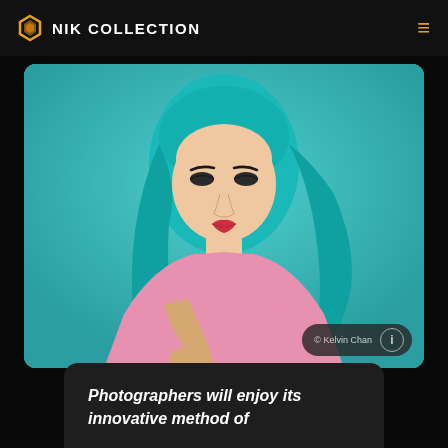NIK COLLECTION
[Figure (photo): Portrait of a young woman with teal/turquoise hair wearing a pink top, posing against a teal studio background. Photo credit: © Kelvin Chan]
Photographers will enjoy its innovative method of